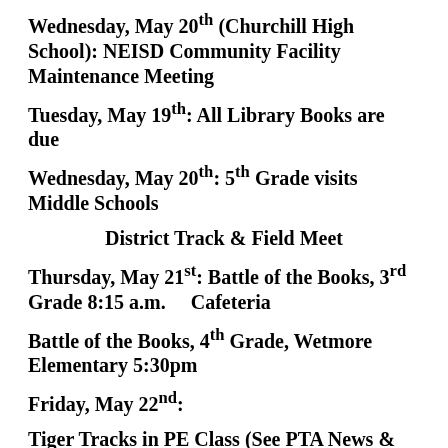Wednesday, May 20th (Churchill High School): NEISD Community Facility Maintenance Meeting
Tuesday, May 19th: All Library Books are due
Wednesday, May 20th: 5th Grade visits Middle Schools
District Track & Field Meet
Thursday, May 21st: Battle of the Books, 3rd Grade 8:15 a.m.    Cafeteria
Battle of the Books, 4th Grade, Wetmore Elementary 5:30pm
Friday, May 22nd:
Tiger Tracks in PE Class (See PTA News &